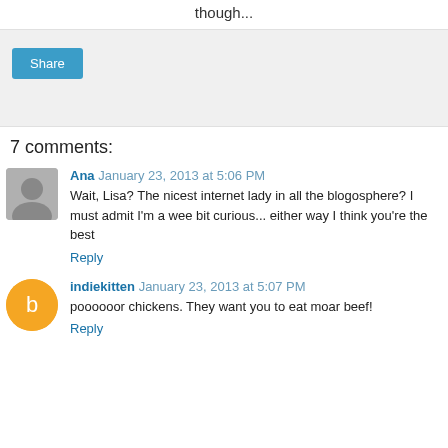though...
[Figure (other): Share button area with light gray background containing a blue Share button]
7 comments:
Ana  January 23, 2013 at 5:06 PM
Wait, Lisa? The nicest internet lady in all the blogosphere? I must admit I'm a wee bit curious... either way I think you're the best
Reply
indiekitten  January 23, 2013 at 5:07 PM
poooooor chickens. They want you to eat moar beef!
Reply